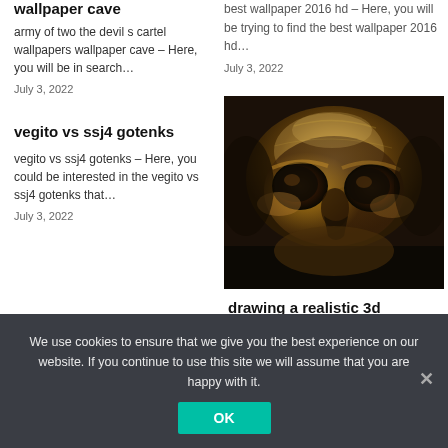wallpaper cave
army of two the devil s cartel wallpapers wallpaper cave – Here, you will be in search…
July 3, 2022
best wallpaper 2016 hd – Here, you will be trying to find the best wallpaper 2016 hd…
July 3, 2022
vegito vs ssj4 gotenks
vegito vs ssj4 gotenks – Here, you could be interested in the vegito vs ssj4 gotenks that…
July 3, 2022
[Figure (photo): A detailed metallic/bronze 3D skull drawing viewed from slightly above, showing dark eye sockets and intricate surface detail]
drawing a realistic 3d
We use cookies to ensure that we give you the best experience on our website. If you continue to use this site we will assume that you are happy with it.